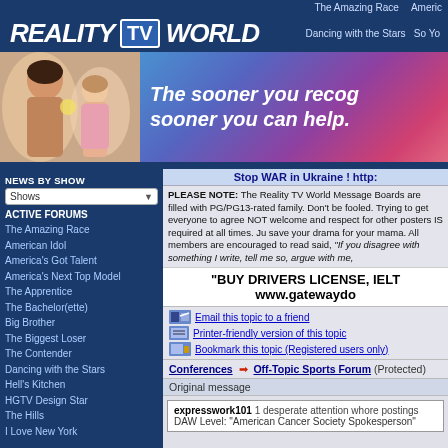The Amazing Race   Americ
REALITY TV WORLD
Dancing with the Stars   So Yo
[Figure (photo): Advertisement banner with woman and child photo on left, text 'The sooner you recog... sooner you can help.' on gradient background on right]
Stop WAR in Ukraine ! http:
PLEASE NOTE: The Reality TV World Message Boards are filled with PG/PG13-rated family. Don't be fooled. Trying to get everyone to agree NOT welcome and respect for other posters IS required at all times. Ju save your drama for your mama. All members are encouraged to read said, "If you disagree with something I write, tell me so, argue with me,
"BUY DRIVERS LICENSE, IELT www.gatewaydo
Email this topic to a friend
Printer-friendly version of this topic
Bookmark this topic (Registered users only)
Conferences → Off-Topic Sports Forum (Protected)
Original message
NEWS BY SHOW
Shows
ACTIVE FORUMS
The Amazing Race
American Idol
America's Got Talent
America's Next Top Model
The Apprentice
The Bachelor(ette)
Big Brother
The Biggest Loser
The Contender
Dancing with the Stars
Hell's Kitchen
HGTV Design Star
The Hills
I Love New York
expresswork101 1 desperate attention whore postings
DAW Level: "American Cancer Society Spokesperson"